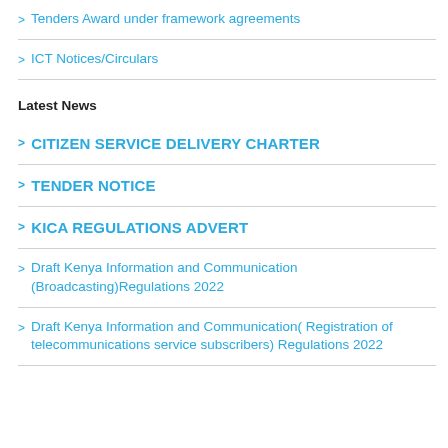Tenders Award under framework agreements
ICT Notices/Circulars
Latest News
CITIZEN SERVICE DELIVERY CHARTER
TENDER NOTICE
KICA REGULATIONS ADVERT
Draft Kenya Information and Communication (Broadcasting)Regulations 2022
Draft Kenya Information and Communication( Registration of telecommunications service subscribers) Regulations 2022